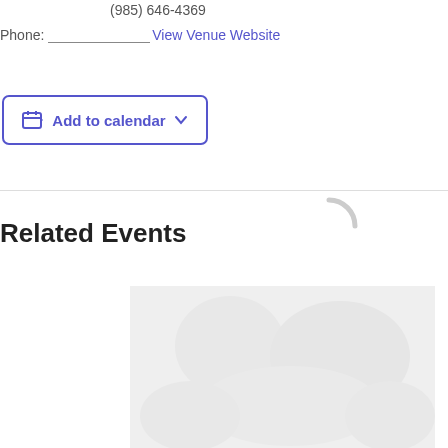(985) 646-4369
Phone: _______________ View Venue Website
Add to calendar
Related Events
[Figure (illustration): Loading spinner graphic]